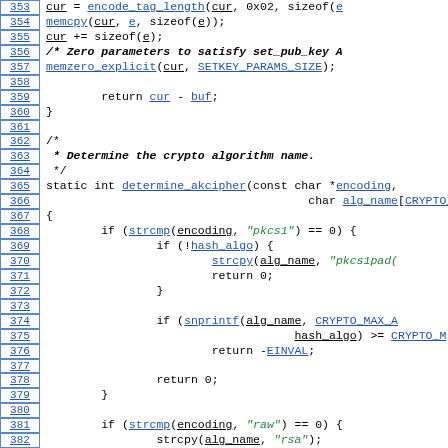Source code listing lines 353-382 showing C code for encode_tag_length, memcpy, memzero_explicit, determine_akcipher function, and related logic including strcmp, strcpy, snprintf calls.